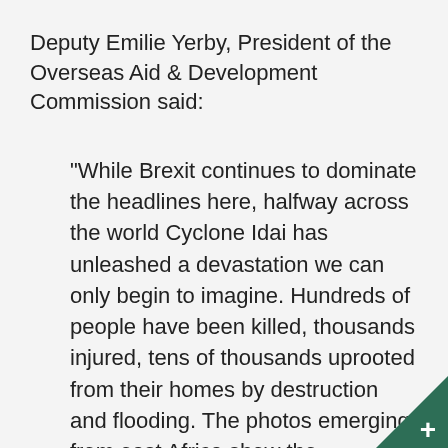Deputy Emilie Yerby, President of the Overseas Aid & Development Commission said:
"While Brexit continues to dominate the headlines here, halfway across the world Cyclone Idai has unleashed a devastation we can only begin to imagine. Hundreds of people have been killed, thousands injured, tens of thousands uprooted from their homes by destruction and flooding. The photos emerging from east Africa show the immediate, terrible impact; and the cyclone, which has destroyed crops and homes, will have a long tail of hunger, poverty and disease in an already struggling region. We know that the people of Guernsey would want us to respond. So we have made an
[Figure (other): Dark green triangle corner badge with a white plus sign in the bottom-right corner of the page]